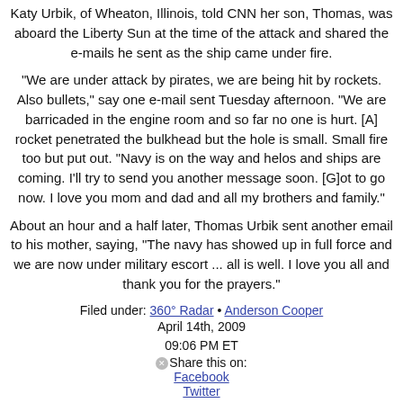Katy Urbik, of Wheaton, Illinois, told CNN her son, Thomas, was aboard the Liberty Sun at the time of the attack and shared the e-mails he sent as the ship came under fire.
"We are under attack by pirates, we are being hit by rockets. Also bullets," say one e-mail sent Tuesday afternoon. "We are barricaded in the engine room and so far no one is hurt. [A] rocket penetrated the bulkhead but the hole is small. Small fire too but put out. "Navy is on the way and helos and ships are coming. I'll try to send you another message soon. [G]ot to go now. I love you mom and dad and all my brothers and family."
About an hour and a half later, Thomas Urbik sent another email to his mother, saying, "The navy has showed up in full force and we are now under military escort ... all is well. I love you all and thank you for the prayers."
Filed under: 360° Radar • Anderson Cooper
April 14th, 2009
09:06 PM ET
Share this on:
Facebook
Twitter